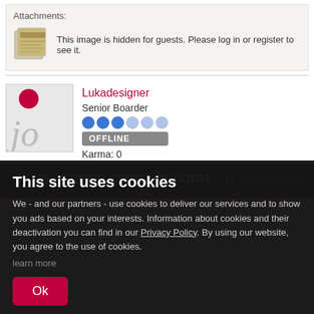Attachments:
This image is hidden for guests. Please log in or register to see it.
Lukadesigner
Senior Boarder
OFFLINE
Karma: 0
RE: ERROR CONTACT FORM.  17 JUL 2015 02:52
may be available in the server error log.
This site uses cookies
We - and our partners - use cookies to deliver our services and to show you ads based on your interests. Information about cookies and their deactivation you can find in our Privacy Policy. By using our website, you agree to the use of cookies.
learn more
Ok